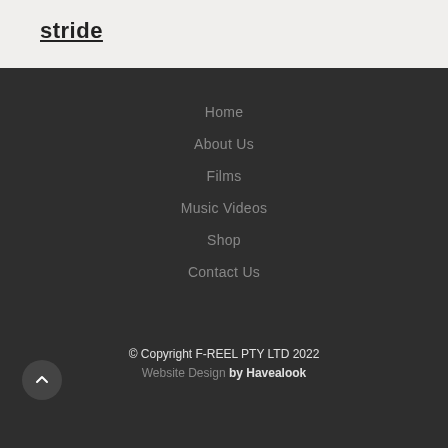stride
Home
About Us
Films
Music Videos
Shop
Contact Us
© Copyright F-REEL PTY LTD 2022
Website Design by Havealook